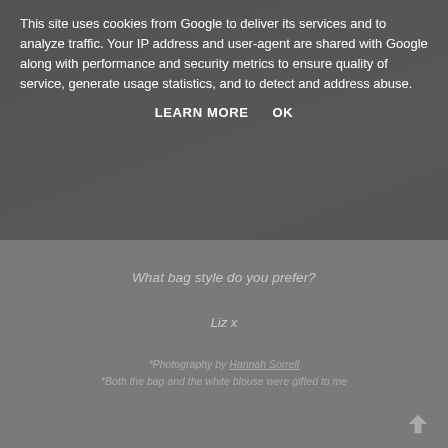[Figure (photo): A dimmed/overlaid photo of a person holding a bag, with legs and shoes visible. A grey cookie consent overlay covers the top portion.]
This site uses cookies from Google to deliver its services and to analyze traffic. Your IP address and user-agent are shared with Google along with performance and security metrics to ensure quality of service, generate usage statistics, and to detect and address abuse.
LEARN MORE    OK
What bag style do you prefer?
Liz x
*Photography by Hannah Sorrell
*Both the bag and the white blouse were gifted to me